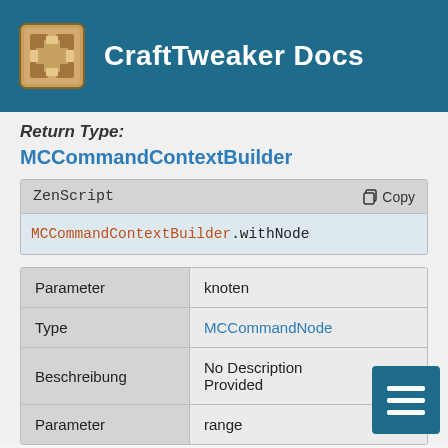CraftTweaker Docs
Return Type:
MCCommandContextBuilder
| ZenScript | Copy |
| --- | --- |
| MCCommandContextBuilder.withNode |  |
| Parameter | Value |
| --- | --- |
| Parameter | knoten |
| Type | MCCommandNode |
| Beschreibung | No Description Provided |
| Parameter | range |